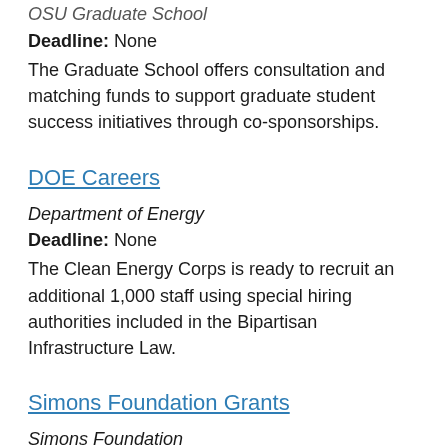OSU Graduate School
Deadline: None
The Graduate School offers consultation and matching funds to support graduate student success initiatives through co-sponsorships.
DOE Careers
Department of Energy
Deadline: None
The Clean Energy Corps is ready to recruit an additional 1,000 staff using special hiring authorities included in the Bipartisan Infrastructure Law.
Simons Foundation Grants
Simons Foundation
Deadline: None